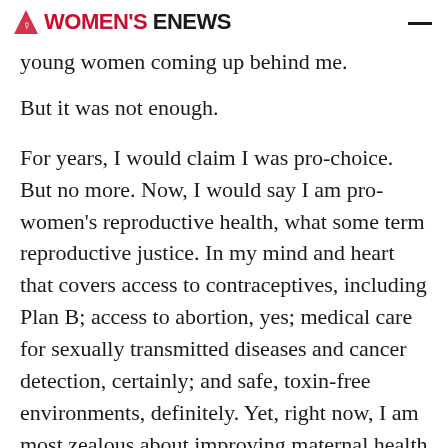Women's eNews
young women coming up behind me.
But it was not enough.
For years, I would claim I was pro-choice. But no more. Now, I would say I am pro-women's reproductive health, what some term reproductive justice. In my mind and heart that covers access to contraceptives, including Plan B; access to abortion, yes; medical care for sexually transmitted diseases and cancer detection, certainly; and safe, toxin-free environments, definitely. Yet, right now, I am most zealous about improving maternal health